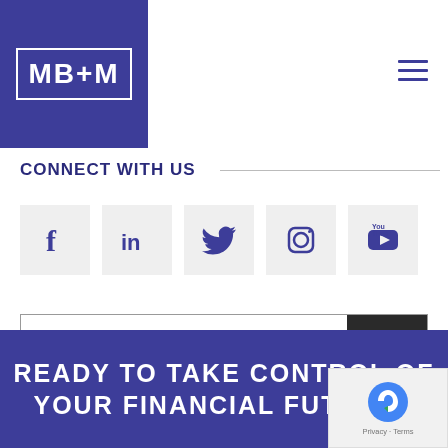[Figure (logo): MB+M logo in white text on dark blue/purple square background]
[Figure (other): Hamburger menu icon (three horizontal lines) in dark blue/purple]
CONNECT WITH US
[Figure (other): Row of 5 social media icons: Facebook, LinkedIn, Twitter, Instagram, YouTube - each on a light grey square background]
[Figure (other): Search bar with text 'Search' and a dark search button with magnifying glass icon]
READY TO TAKE CONTROL OF YOUR FINANCIAL FUTURE?